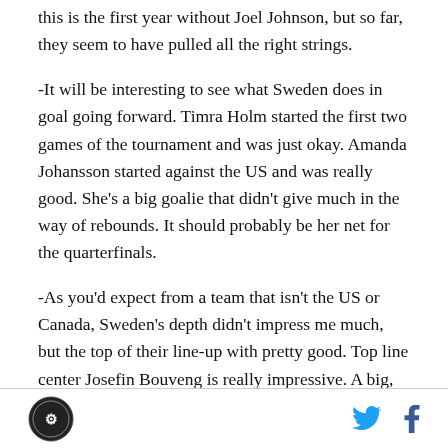this is the first year without Joel Johnson, but so far, they seem to have pulled all the right strings.
-It will be interesting to see what Sweden does in goal going forward. Timra Holm started the first two games of the tournament and was just okay. Amanda Johansson started against the US and was really good. She's a big goalie that didn't give much in the way of rebounds. It should probably be her net for the quarterfinals.
-As you'd expect from a team that isn't the US or Canada, Sweden's depth didn't impress me much, but the top of their line-up with pretty good. Top line center Josefin Bouveng is really impressive. A big, strong